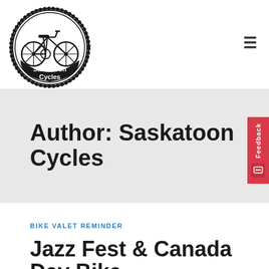[Figure (logo): Saskatoon Cycles circular logo with a bicycle illustration and gear-tooth border, with 'Saskatoon Cycles' text at the bottom inside the circle]
Author: Saskatoon Cycles
BIKE VALET REMINDER
Jazz Fest & Canada Day Bike